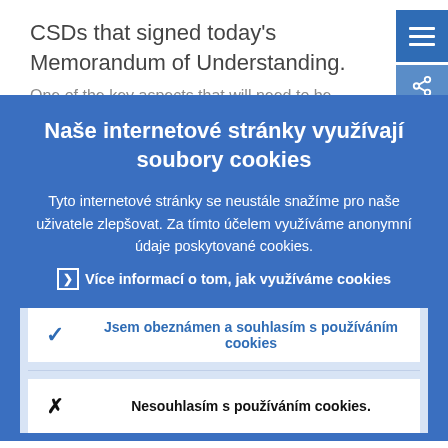CSDs that signed today's Memorandum of Understanding.
One of the key aspects that will need to be...
Naše internetové stránky využívají soubory cookies
Tyto internetové stránky se neustále snažíme pro naše uživatele zlepšovat. Za tímto účelem využíváme anonymní údaje poskytované cookies.
› Více informací o tom, jak využíváme cookies
✓ Jsem obeznámen a souhlasím s používáním cookies
✕ Nesouhlasím s používáním cookies.